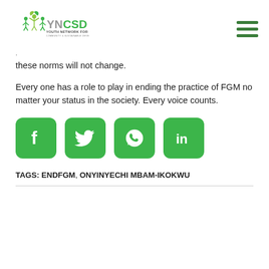[Figure (logo): YNCSD - Youth Network for Community & Sustainable Development logo with stylized green figures and leaves]
these norms will not change.
Every one has a role to play in ending the practice of FGM no matter your status in the society. Every voice counts.
[Figure (infographic): Social media sharing icons: Facebook, Twitter, WhatsApp, LinkedIn — all in green rounded squares]
TAGS: ENDFGM, ONYINYECHI MBAM-IKOKWU